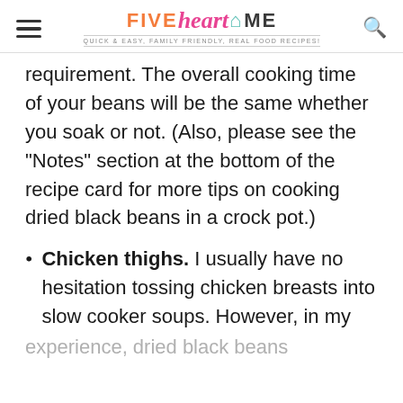FIVE heart HOME — Quick & Easy, Family Friendly, Real Food Recipes!
requirement. The overall cooking time of your beans will be the same whether you soak or not. (Also, please see the "Notes" section at the bottom of the recipe card for more tips on cooking dried black beans in a crock pot.)
Chicken thighs. I usually have no hesitation tossing chicken breasts into slow cooker soups. However, in my
experience, dried black beans